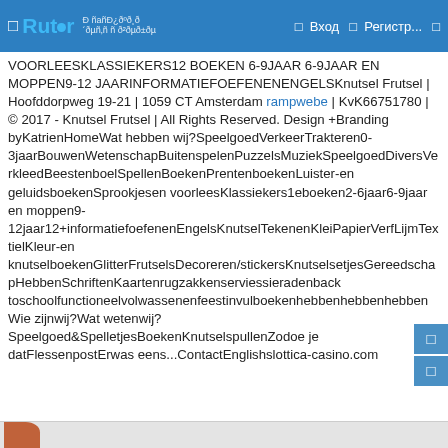Rutor | Вход | Регистр...
VOORLEESKLASSIEKERS12 BOEKEN 6-9JAAR 6-9JAAR EN MOPPEN9-12 JAARINFORMATIEFOEFENENENGELSKnutsel Frutsel | Hoofddorpweg 19-21 | 1059 CT Amsterdam rampwebe | KvK66751780 | © 2017 - Knutsel Frutsel | All Rights Reserved. Design +Branding byKatrienHomeWat hebben wij?SpeelgoedVerkeerTrakteren0-3jaarBouwenWetenschapBuitenspelenPuzzelsMuziekSpeelgoedDiversVerkleedBeestenboelSpellenBoekenPrentenboekenLuister-en geluidsboekenSprookjesen voorleesKlassiekers1eboeken2-6jaar6-9jaar en moppen9-12jaar12+informatiefoefenenEngelsKnutselTekenenKleiPapierVerfLijmTextielKleur-en knutselboekenGlitterFrutselsDecoreren/stickersKnutselsetjesGereedschapHebbenSchriftenKaartenrugzakkenserviessieradenback toschoolfunctioneelvolwassenenfeestinvulboekenhebbenhebbenhebbenWie zijnwij?Wat wetenwij?Speelgoed&SpelletjesBoekenKnutselspullenZodoe je datFlessenpostErwas eens...ContactEnglishslottica-casino.com